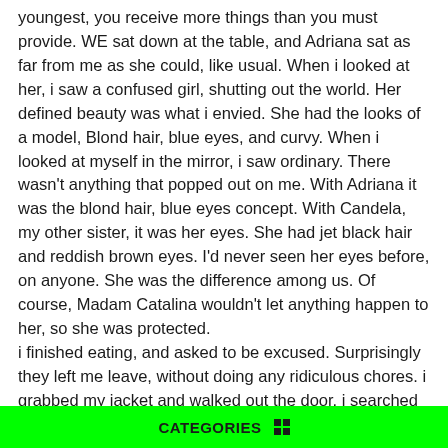youngest, you receive more things than you must provide. WE sat down at the table, and Adriana sat as far from me as she could, like usual. When i looked at her, i saw a confused girl, shutting out the world. Her defined beauty was what i envied. She had the looks of a model, Blond hair, blue eyes, and curvy. When i looked at myself in the mirror, i saw ordinary. There wasn't anything that popped out on me. With Adriana it was the blond hair, blue eyes concept. With Candela, my other sister, it was her eyes. She had jet black hair and reddish brown eyes. I'd never seen her eyes before, on anyone. She was the difference among us. Of course, Madam Catalina wouldn't let anything happen to her, so she was protected.
i finished eating, and asked to be excused. Surprisingly they left me leave, without doing any ridiculous chores. i grabbed my jacket and walked out the door. i searched the area for her, and found her hiding under a tree crying. i walked up to her, cautiously. i softly touched her shoulder, ans backed away as she turned around. She scrambled to her feet, and
CATEGORIES